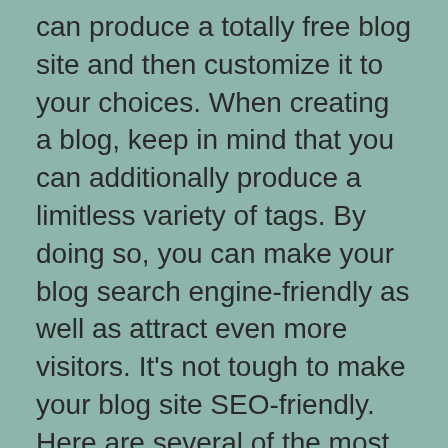can produce a totally free blog site and then customize it to your choices. When creating a blog, keep in mind that you can additionally produce a limitless variety of tags. By doing so, you can make your blog search engine-friendly as well as attract even more visitors. It's not tough to make your blog site SEO-friendly. Here are several of the most preferred devices to enhance your web traffic and also reach your target market.
Blog writing is a crucial device for promoting your business or solution. Although different blog owners have various agendas, the major